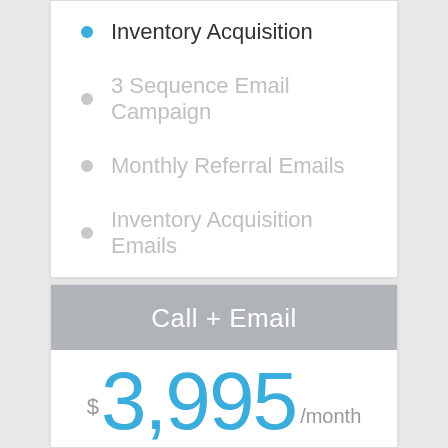Inventory Acquisition
3 Sequence Email Campaign
Monthly Referral Emails
Inventory Acquisition Emails
Call + Email
$3,995/month